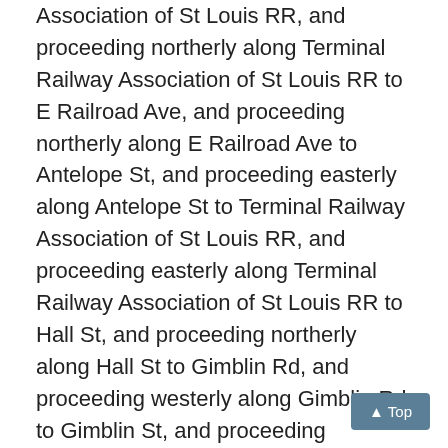Association of St Louis RR, and proceeding northerly along Terminal Railway Association of St Louis RR to E Railroad Ave, and proceeding northerly along E Railroad Ave to Antelope St, and proceeding easterly along Antelope St to Terminal Railway Association of St Louis RR, and proceeding easterly along Terminal Railway Association of St Louis RR to Hall St, and proceeding northerly along Hall St to Gimblin Rd, and proceeding westerly along Gimblin Rd to Gimblin St, and proceeding westerly along Gimblin St to Newby St, and proceeding northerly along Newby St to Sells Ave, and proceeding westerly along Sells Ave to Annetta Ave, and proceeding northerly along Annetta Ave to McLaran Ave, and proceeding westerly along McLaran Ave to Riverview Blvd, and proceeding southerly along Riverview Blvd to Melrose Ave, and